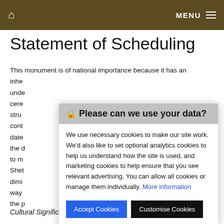🏠  MENU ☰
Statement of Scheduling
This monument is of national importance because it has an inhe... unde... d cere... stru... cont... date... the d... d to m... Shet... dimi... way... e the p...
🔒 Please can we use your data?

We use necessary cookies to make our site work. We'd also like to set optional analytics cookies to help us understand how the site is used, and marketing cookies to help ensure that you see relevant advertising. You can allow all cookies or manage them individually. More information

[Accept Cookies] [Customise Cookies]
Cultural Significance